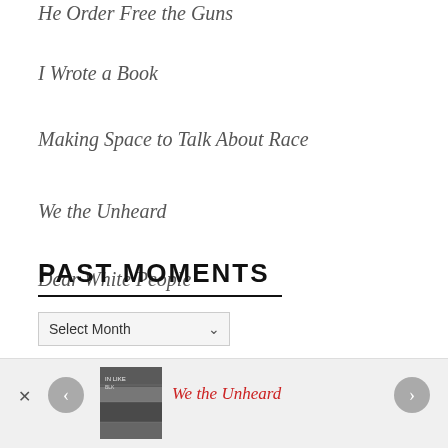He Order Free the Guns
I Wrote a Book
Making Space to Talk About Race
We the Unheard
Dear White People
PAST MOMENTS
Select Month
[Figure (photo): Black and white thumbnail photo of a crowd at a protest or demonstration]
We the Unheard